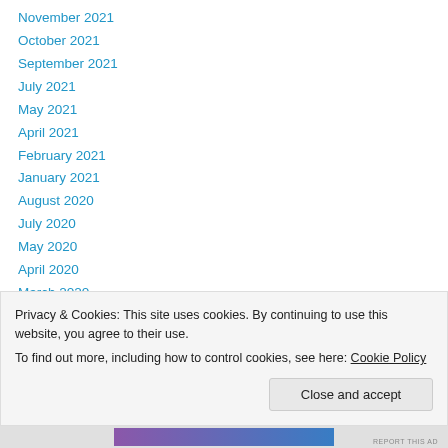November 2021
October 2021
September 2021
July 2021
May 2021
April 2021
February 2021
January 2021
August 2020
July 2020
May 2020
April 2020
March 2020
Privacy & Cookies: This site uses cookies. By continuing to use this website, you agree to their use.
To find out more, including how to control cookies, see here: Cookie Policy